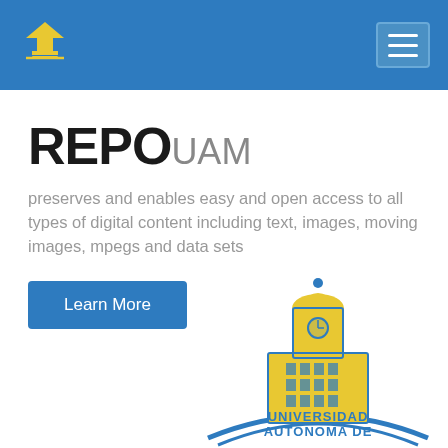REPOUAM header navigation bar with logo and hamburger menu
REPOUAM
preserves and enables easy and open access to all types of digital content including text, images, moving images, mpegs and data sets
Learn More
[Figure (logo): Universidad Autonoma de (UAM) university logo - yellow/gold building tower with clock and blue text]